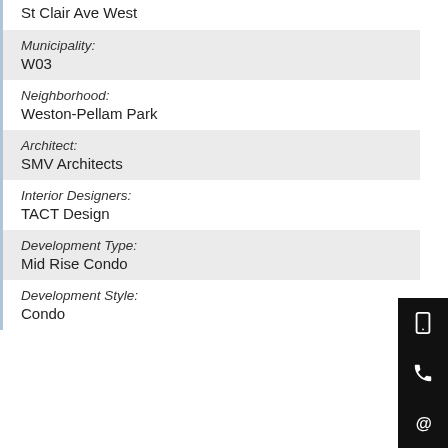St Clair Ave West
Municipality:
W03
Neighborhood:
Weston-Pellam Park
Architect:
SMV Architects
Interior Designers:
TACT Design
Development Type:
Mid Rise Condo
Development Style:
Condo